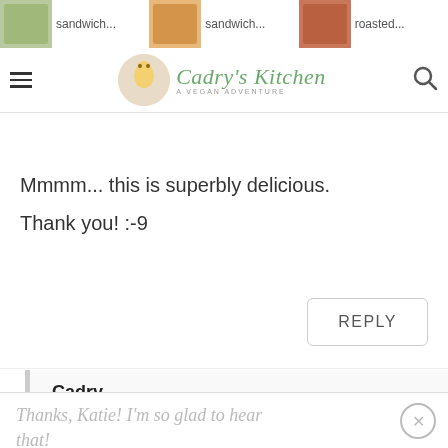sandwich... sandwich... roasted... Cadry's Kitchen – A Vegan Adventure
Mmmm... this is superbly delicious.
Thank you! :-9
REPLY
Cadry
November 02, 2015 at 11:44 am
Thanks, Katie! I'm so glad to hear that!